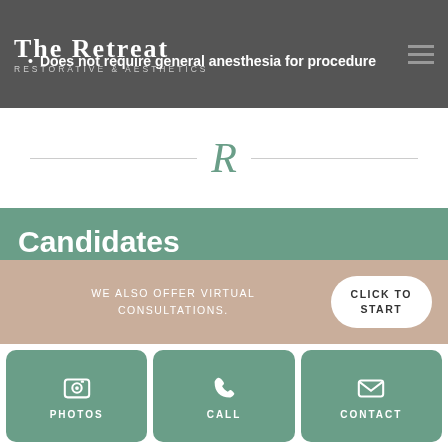[Figure (logo): The Retreat Restorative & Aesthetics logo on dark gray navigation bar with hamburger menu icon]
Does not require general anesthesia for procedure
[Figure (illustration): Decorative horizontal divider with serif R monogram in teal/green color]
Candidates
BodyTite® before and after pictures reveal the complex nature of having excess fat and loose skin. Power Assisted Liposuction is not
WE ALSO OFFER VIRTUAL CONSULTATIONS.
CLICK TO START
PHOTOS
CALL
CONTACT